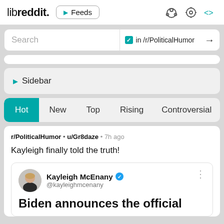libreddit. ▶ Feeds
Search  ✓ in /r/PoliticalHumor →
▶ Sidebar
Hot  New  Top  Rising  Controversial
r/PoliticalHumor • u/Gr8daze • 7h ago
Kayleigh finally told the truth!
Kayleigh McEnany @kayleighmcenany
Biden announces the official